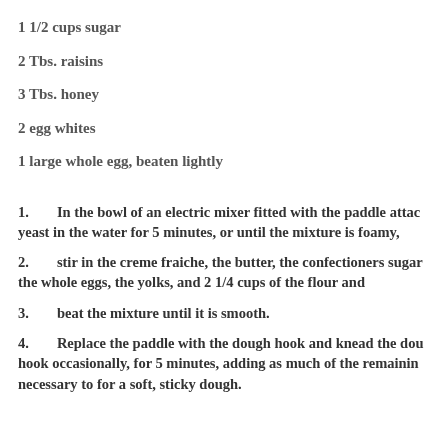1 1/2 cups sugar
2 Tbs. raisins
3 Tbs. honey
2 egg whites
1 large whole egg, beaten lightly
1.   In the bowl of an electric mixer fitted with the paddle attac yeast in the water for 5 minutes, or until the mixture is foamy,
2.   stir in the creme fraiche, the butter, the confectioners sugar the whole eggs, the yolks, and 2 1/4 cups of the flour and
3.   beat the mixture until it is smooth.
4.   Replace the paddle with the dough hook and knead the dou hook occasionally, for 5 minutes, adding as much of the remainin necessary to for a soft, sticky dough.